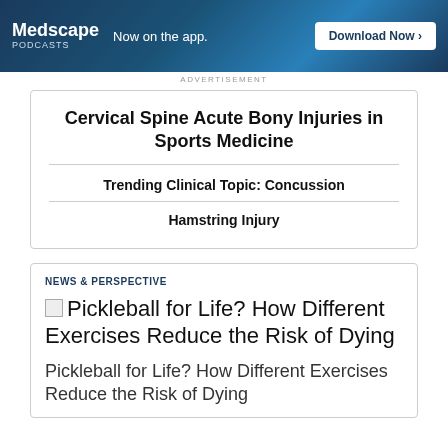[Figure (other): Medscape Podcasts advertisement banner: 'Now on the app. Download Now >']
ADVERTISEMENT
Cervical Spine Acute Bony Injuries in Sports Medicine
Trending Clinical Topic: Concussion
Hamstring Injury
NEWS & PERSPECTIVE
[Figure (photo): Broken image placeholder for Pickleball for Life? How Different Exercises Reduce the Risk of Dying]
Pickleball for Life? How Different Exercises Reduce the Risk of Dying
Pickleball for Life? How Different Exercises Reduce the Risk of Dying